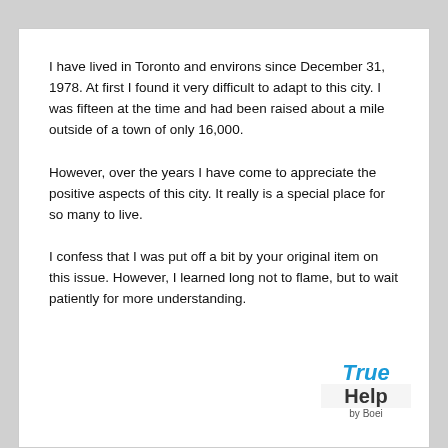I have lived in Toronto and environs since December 31, 1978. At first I found it very difficult to adapt to this city. I was fifteen at the time and had been raised about a mile outside of a town of only 16,000.
However, over the years I have come to appreciate the positive aspects of this city. It really is a special place for so many to live.
I confess that I was put off a bit by your original item on this issue. However, I learned long not to flame, but to wait patiently for more understanding.
[Figure (logo): True Help by Boei logo badge — 'True' in bold italic blue, 'Help' in bold dark text on light background, 'by Boei' in small grey text below]